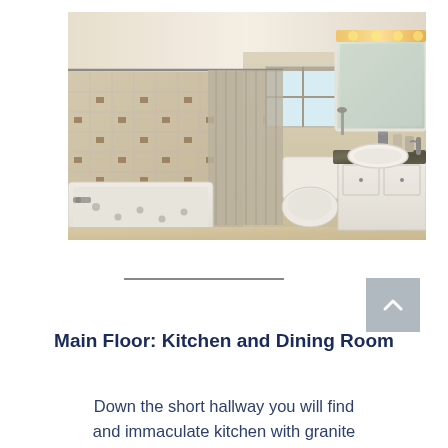[Figure (photo): Interior bathroom photo showing a tiled bathtub with shower curtain on the left, toilet in the center, and a white vanity cabinet with dark granite countertop and oval sink on the right. Large mirror above the vanity with wall-mounted light fixtures. Neutral beige tile walls with decorative accent tiles.]
Main Floor: Kitchen and Dining Room
Down the short hallway you will find and immaculate kitchen with granite